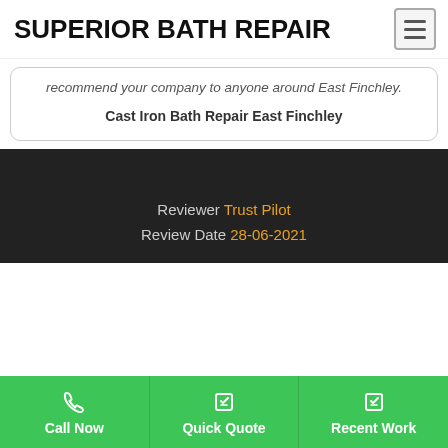SUPERIOR BATH REPAIR
recommend your company to anyone around East Finchley.
Cast Iron Bath Repair East Finchley
Reviewer Trust Pilot
Review Date 28-06-2021
Call Now
Quick Quote
Recent Work